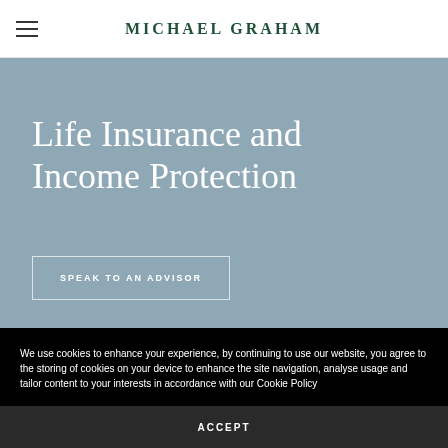MICHAEL GRAHAM
Life Insurance and Income Protection
SPEAK TO AN ADVISOR
We use cookies to enhance your experience, by continuing to use our website, you agree to the storing of cookies on your device to enhance the site navigation, analyse usage and tailor content to your interests in accordance with our Cookie Policy
ACCEPT